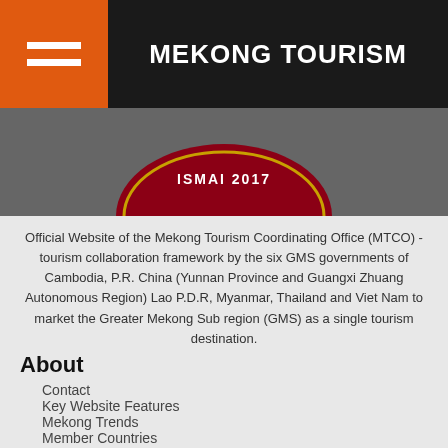MEKONG TOURISM
[Figure (logo): Mekong Tourism logo emblem with red circular badge and text 'ISMAI 2017' on dark background]
Official Website of the Mekong Tourism Coordinating Office (MTCO) - tourism collaboration framework by the six GMS governments of Cambodia, P.R. China (Yunnan Province and Guangxi Zhuang Autonomous Region) Lao P.D.R, Myanmar, Thailand and Viet Nam to market the Greater Mekong Sub region (GMS) as a single tourism destination.
About
Contact
Key Website Features
Mekong Trends
Member Countries
MIST Startup Competition
Tourism Ministers Meeting
Tourism Performance